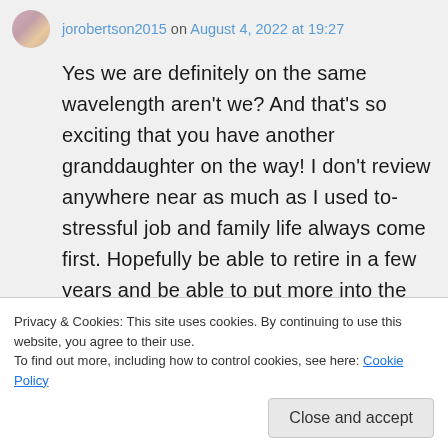jorobertson2015 on August 4, 2022 at 19:27
Yes we are definitely on the same wavelength aren't we? And that's so exciting that you have another granddaughter on the way! I don't review anywhere near as much as I used to-stressful job and family life always come first. Hopefully be able to retire in a few years and be able to put more into the blog again.
Privacy & Cookies: This site uses cookies. By continuing to use this website, you agree to their use.
To find out more, including how to control cookies, see here: Cookie Policy
Close and accept